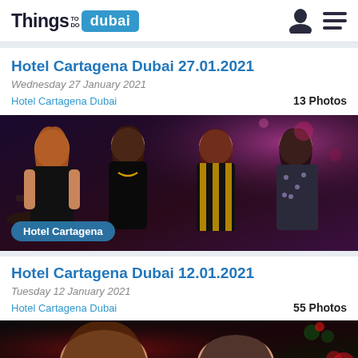Things TO DO dubai
Hotel Cartagena Dubai 27.01.2021
Wednesday 27 January 2021
Hotel Cartagena Dubai    13 Photos
[Figure (photo): Four women posing together at Hotel Cartagena Dubai nightclub event, with pink/purple lighting in background. Badge overlay reads 'Hotel Cartagena'.]
Hotel Cartagena Dubai 12.01.2021
Tuesday 12 January 2021
Hotel Cartagena Dubai    55 Photos
[Figure (photo): Partial view of women at Hotel Cartagena Dubai event with red/green lighting, cropped at bottom of page.]